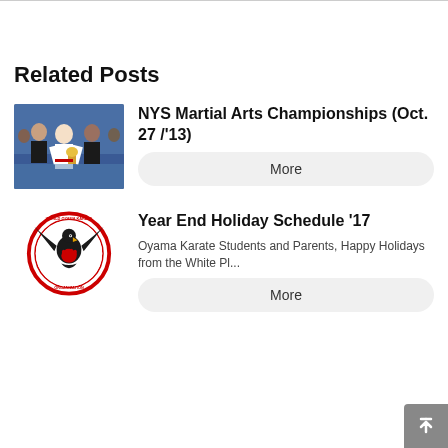Related Posts
NYS Martial Arts Championships (Oct. 27 /'13)
[Figure (photo): Group photo of martial artists at a championship event, men in gis holding trophies]
More
Year End Holiday Schedule '17
[Figure (logo): World Oyama Karate Organization circular logo with eagle and fist]
Oyama Karate Students and Parents, Happy Holidays from the White Pl...
More